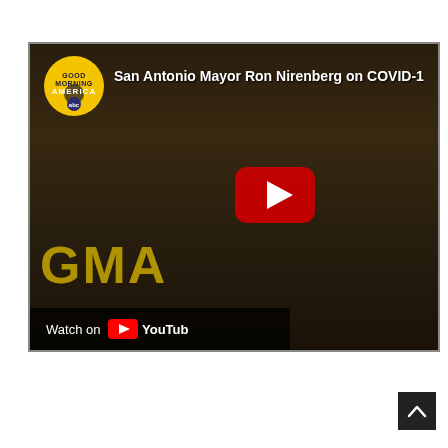[Figure (screenshot): YouTube video thumbnail showing San Antonio Mayor Ron Nirenberg on Good Morning America (GMA), titled 'San Antonio Mayor Ron Nirenberg on COVID-1...', with a red YouTube play button overlay, GMA logo in upper left, 'GMA' watermark text in gold at bottom left, and a 'Watch on YouTube' bar at the bottom left of the video.]